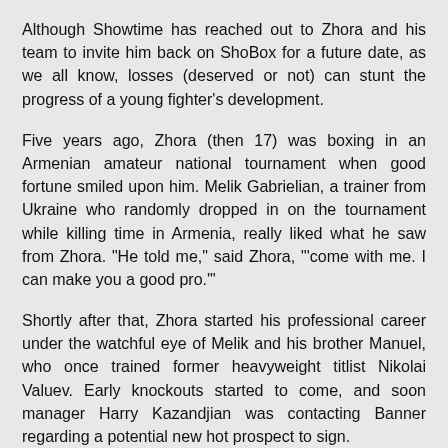Although Showtime has reached out to Zhora and his team to invite him back on ShoBox for a future date, as we all know, losses (deserved or not) can stunt the progress of a young fighter's development.
Five years ago, Zhora (then 17) was boxing in an Armenian amateur national tournament when good fortune smiled upon him. Melik Gabrielian, a trainer from Ukraine who randomly dropped in on the tournament while killing time in Armenia, really liked what he saw from Zhora. "He told me," said Zhora, "'come with me. I can make you a good pro.'"
Shortly after that, Zhora started his professional career under the watchful eye of Melik and his brother Manuel, who once trained former heavyweight titlist Nikolai Valuev. Early knockouts started to come, and soon manager Harry Kazandjian was contacting Banner regarding a potential new hot prospect to sign.
Now 9-1 with six knockouts, Zhora will next head back to Europe to burn off some steam. Although he has been